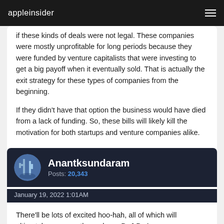appleinsider
if these kinds of deals were not legal. These companies were mostly unprofitable for long periods because they were funded by venture capitalists that were investing to get a big payoff when it eventually sold. That is actually the exit strategy for these types of companies from the beginning.

If they didn't have that option the business would have died from a lack of funding. So, these bills will likely kill the motivation for both startups and venture companies alike.
Anantksundaram
Posts: 20,343
January 19, 2022 1:01AM
There'll be lots of excited hoo-hah, all of which will ultimately go... exactly nowhere. DoJ DoA.